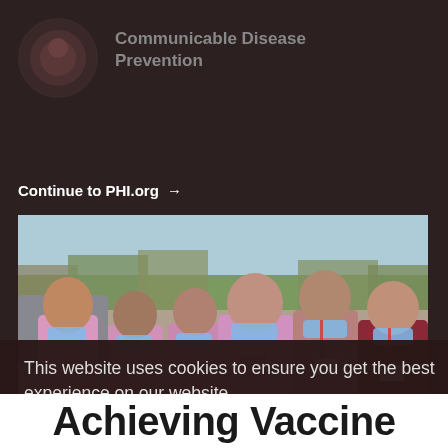[Figure (logo): Circular logo/avatar for Communicable Disease Prevention organization]
Communicable Disease Prevention
Continue to PHI.org →
[Figure (photo): Group photo of five people wearing blue surgical masks and pink/lavender United shirts, standing outdoors in a parking lot with trees in background]
This website uses cookies to ensure you get the best experience on our website.
Learn More
Decline
Got it!
Achieving Vaccine